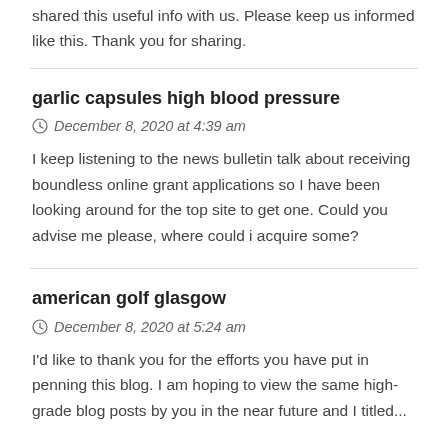shared this useful info with us. Please keep us informed like this. Thank you for sharing.
garlic capsules high blood pressure
December 8, 2020 at 4:39 am
I keep listening to the news bulletin talk about receiving boundless online grant applications so I have been looking around for the top site to get one. Could you advise me please, where could i acquire some?
american golf glasgow
December 8, 2020 at 5:24 am
I'd like to thank you for the efforts you have put in penning this blog. I am hoping to view the same high-grade blog posts by you in the near future and I titled...